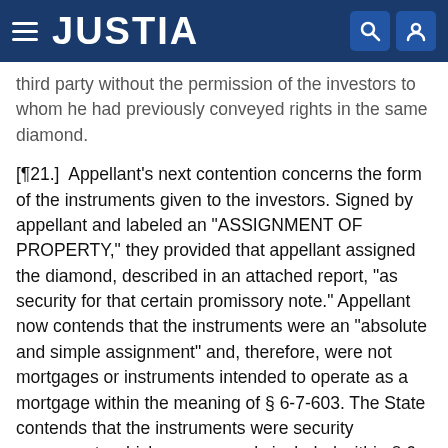JUSTIA
third party without the permission of the investors to whom he had previously conveyed rights in the same diamond.
[¶21.] Appellant's next contention concerns the form of the instruments given to the investors. Signed by appellant and labeled an "ASSIGNMENT OF PROPERTY," they provided that appellant assigned the diamond, described in an attached report, "as security for that certain promissory note." Appellant now contends that the instruments were an "absolute and simple assignment" and, therefore, were not mortgages or instruments intended to operate as a mortgage within the meaning of § 6-7-603. The State contends that the instruments were security agreements which are expressly included within § 6-7-603 as instruments intended to operate as mortgages.